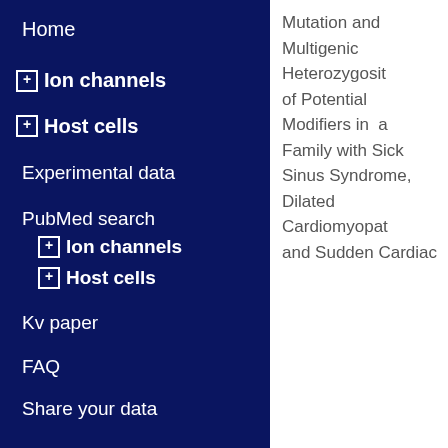Home
⊞ Ion channels
⊞ Host cells
Experimental data
PubMed search
⊞ Ion channels
⊞ Host cells
Kv paper
FAQ
Share your data
Mutation and Multigenic Heterozygosity of Potential Modifiers in a Family with Sick Sinus Syndrome, Dilated Cardiomyopathy and Sudden Cardiac